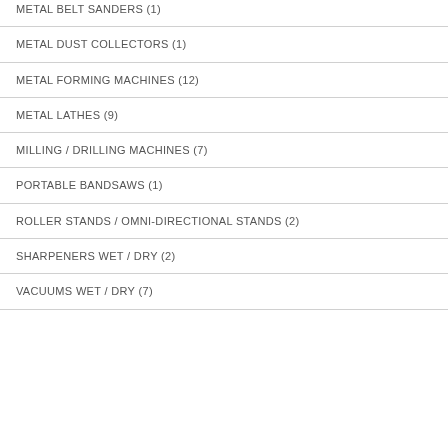METAL BELT SANDERS (1)
METAL DUST COLLECTORS (1)
METAL FORMING MACHINES (12)
METAL LATHES (9)
MILLING / DRILLING MACHINES (7)
PORTABLE BANDSAWS (1)
ROLLER STANDS / OMNI-DIRECTIONAL STANDS (2)
SHARPENERS WET / DRY (2)
VACUUMS WET / DRY (7)